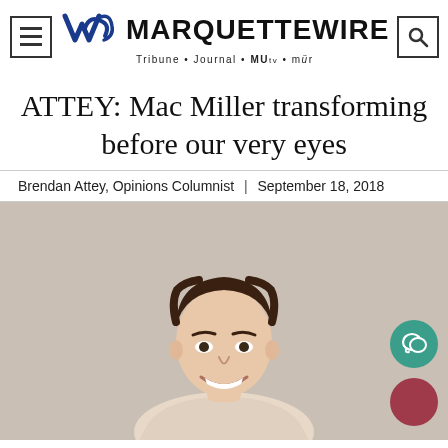MARQUETTE WIRE — Tribune • Journal • MUtv • mür
ATTEY: Mac Miller transforming before our very eyes
Brendan Attey, Opinions Columnist | September 18, 2018
[Figure (photo): Headshot photo of Brendan Attey, a young man smiling, against a beige/tan background]